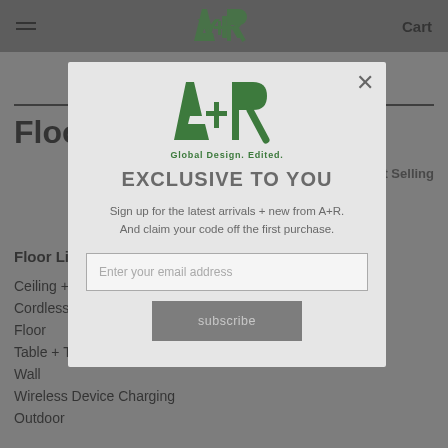A+R   Cart
Floor Lighting
Sort By Best Selling
Floor Lighting Categories
Ceiling + Pendant
Cordless
Floor
Table + Task
Wall
Wireless Device Charging
Outdoor
[Figure (screenshot): A+R modal popup with logo, tagline 'Global Design. Edited.', heading 'EXCLUSIVE TO YOU', body text about signing up for latest arrivals and code off first purchase, email input field, and subscribe button.]
Global Design. Edited.
EXCLUSIVE TO YOU
Sign up for the latest arrivals + new from A+R. And claim your code off the first purchase.
Enter your email address
subscribe